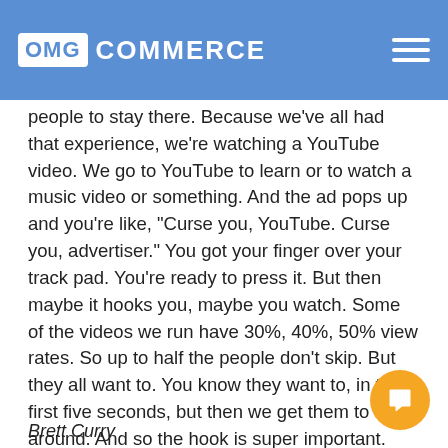OMG COMMERCE
people to stay there. Because we've all had that experience, we're watching a YouTube video. We go to YouTube to learn or to watch a music video or something. And the ad pops up and you're like, "Curse you, YouTube. Curse you, advertiser." You got your finger over your track pad. You're ready to press it. But then maybe it hooks you, maybe you watch. Some of the videos we run have 30%, 40%, 50% view rates. So up to half the people don't skip. But they all want to. You know they want to, in the first five seconds, but then we get them to stick around. And so the hook is super important. Spend most of your time on the hook because that is what matters.
Brett Curry